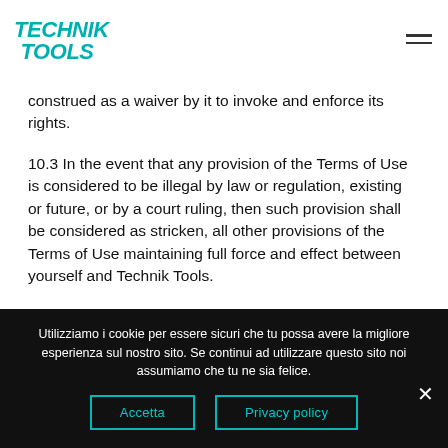TECHNIK TOOLS
construed as a waiver by it to invoke and enforce its rights.
10.3 In the event that any provision of the Terms of Use is considered to be illegal by law or regulation, existing or future, or by a court ruling, then such provision shall be considered as stricken, all other provisions of the Terms of Use maintaining full force and effect between yourself and Technik Tools.
Utilizziamo i cookie per essere sicuri che tu possa avere la migliore esperienza sul nostro sito. Se continui ad utilizzare questo sito noi assumiamo che tu ne sia felice.
Accetta
Privacy policy